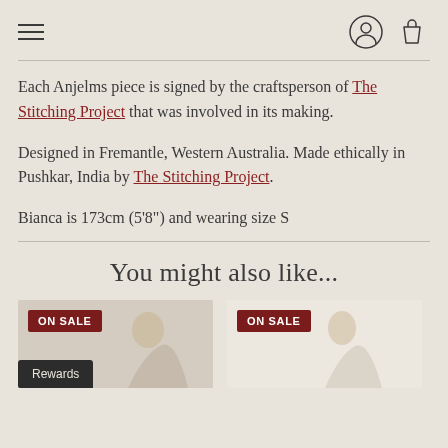navigation header with hamburger menu, user icon, and shopping bag icon
Each Anjelms piece is signed by the craftsperson of The Stitching Project that was involved in its making.
Designed in Fremantle, Western Australia. Made ethically in Pushkar, India by The Stitching Project.
Bianca is 173cm (5'8") and wearing size S
You might also like...
[Figure (photo): Product thumbnail with ON SALE badge, showing a woman model, left card]
[Figure (photo): Product thumbnail with ON SALE badge, showing a woman model, right card]